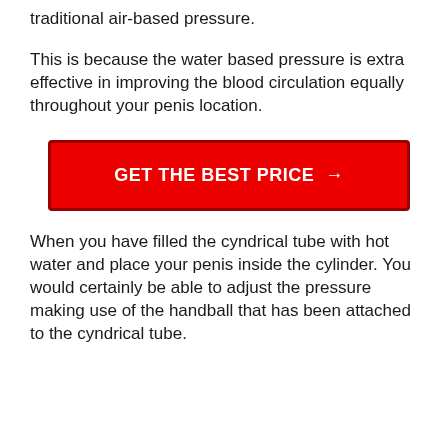traditional air-based pressure.
This is because the water based pressure is extra effective in improving the blood circulation equally throughout your penis location.
[Figure (other): Red call-to-action button with white bold text reading 'GET THE BEST PRICE →']
When you have filled the cyndrical tube with hot water and place your penis inside the cylinder. You would certainly be able to adjust the pressure making use of the handball that has been attached to the cyndrical tube.